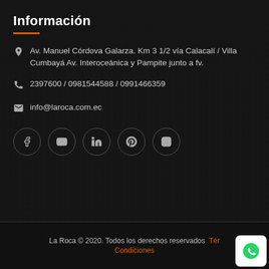Información
Av. Manuel Córdova Galarza. Km 3 1/2 vía Calacalí / Villa Cumbayá Av. Interoceánica y Pampite junto a fv.
2397600 / 0981544588 / 0991466359
info@laroca.com.ec
[Figure (infographic): Row of 5 social media icons in dark circular outlines: Facebook, YouTube, LinkedIn, Pinterest, Instagram]
La Roca © 2020. Todos los derechos reservados  Tér... Condiciones